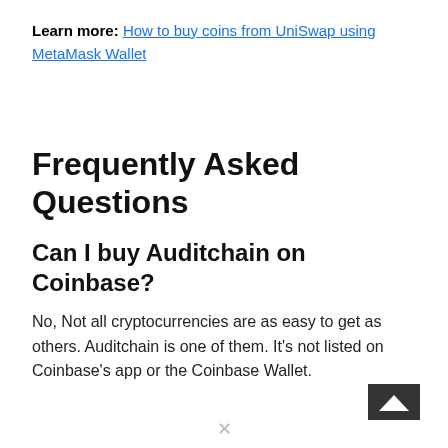Learn more: How to buy coins from UniSwap using MetaMask Wallet
Frequently Asked Questions
Can I buy Auditchain on Coinbase?
No, Not all cryptocurrencies are as easy to get as others. Auditchain is one of them. It's not listed on Coinbase's app or the Coinbase Wallet.